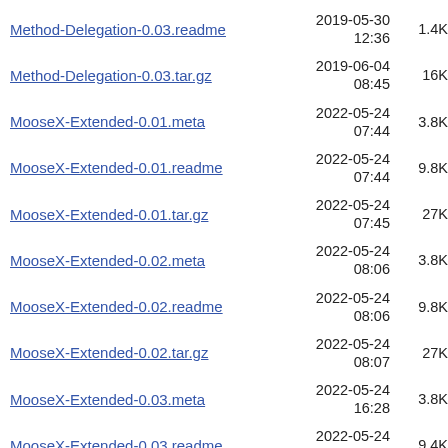Method-Delegation-0.03.readme  2019-05-30 12:36  1.4K
Method-Delegation-0.03.tar.gz  2019-06-04 08:45  16K
MooseX-Extended-0.01.meta  2022-05-24 07:44  3.8K
MooseX-Extended-0.01.readme  2022-05-24 07:44  9.8K
MooseX-Extended-0.01.tar.gz  2022-05-24 07:45  27K
MooseX-Extended-0.02.meta  2022-05-24 08:06  3.8K
MooseX-Extended-0.02.readme  2022-05-24 08:06  9.8K
MooseX-Extended-0.02.tar.gz  2022-05-24 08:07  27K
MooseX-Extended-0.03.meta  2022-05-24 16:28  3.8K
MooseX-Extended-0.03.readme  2022-05-24 16:28  9.4K
MooseX-Extended-0.03.tar.gz  2022-05-24 16:28  27K